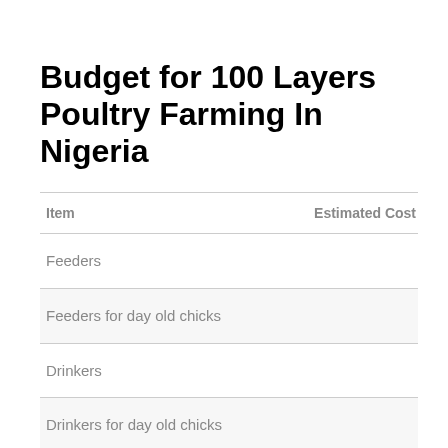Budget for 100 Layers Poultry Farming In Nigeria
| Item | Estimated Cost |
| --- | --- |
| Feeders |  |
| Feeders for day old chicks |  |
| Drinkers |  |
| Drinkers for day old chicks |  |